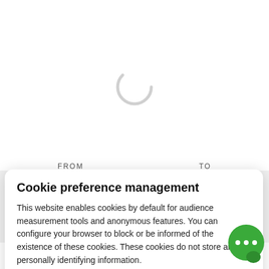[Figure (illustration): Loading spinner circle (grey ring) centered in the white upper area of the page]
FROM
TO
Cookie preference management
This website enables cookies by default for audience measurement tools and anonymous features. You can configure your browser to block or be informed of the existence of these cookies. These cookies do not store any personally identifying information.
Read more
No thanks
I choose
Ok for me
[Figure (illustration): Green circular chat bubble icon with three white dots]
Contact by email